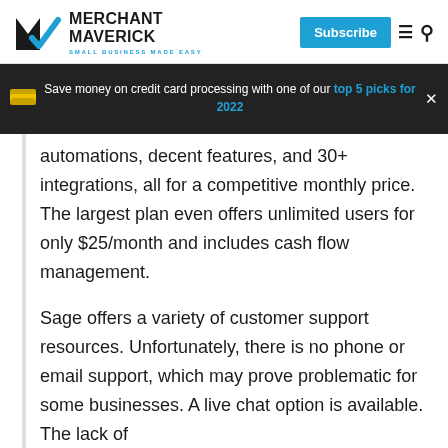MERCHANT MAVERICK — SMALL BUSINESS MADE EASY | Subscribe
Save money on credit card processing with one of our top 5 picks for 2022
automations, decent features, and 30+ integrations, all for a competitive monthly price. The largest plan even offers unlimited users for only $25/month and includes cash flow management.
Sage offers a variety of customer support resources. Unfortunately, there is no phone or email support, which may prove problematic for some businesses. A live chat option is available. The lack of